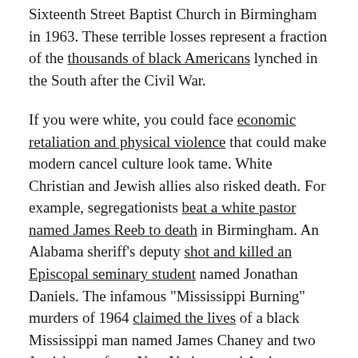Sixteenth Street Baptist Church in Birmingham in 1963. These terrible losses represent a fraction of the thousands of black Americans lynched in the South after the Civil War.
If you were white, you could face economic retaliation and physical violence that could make modern cancel culture look tame. White Christian and Jewish allies also risked death. For example, segregationists beat a white pastor named James Reeb to death in Birmingham. An Alabama sheriff’s deputy shot and killed an Episcopal seminary student named Jonathan Daniels. The infamous “Mississippi Burning” murders of 1964 claimed the lives of a black Mississippi man named James Chaney and two Jewish men from New York named Andrew Goodman and Michael Schwerner.